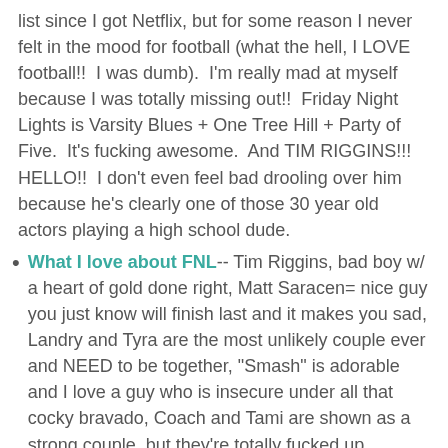list since I got Netflix, but for some reason I never felt in the mood for football (what the hell, I LOVE football!!  I was dumb).  I'm really mad at myself because I was totally missing out!!  Friday Night Lights is Varsity Blues + One Tree Hill + Party of Five.  It's fucking awesome.  And TIM RIGGINS!!!  HELLO!!  I don't even feel bad drooling over him because he's clearly one of those 30 year old actors playing a high school dude.
What I love about FNL-- Tim Riggins, bad boy w/ a heart of gold done right, Matt Saracen= nice guy you just know will finish last and it makes you sad, Landry and Tyra are the most unlikely couple ever and NEED to be together, "Smash" is adorable and I love a guy who is insecure under all that cocky bravado, Coach and Tami are shown as a strong couple, but they're totally fucked up.
Marcella- I just started this Netflix Original show